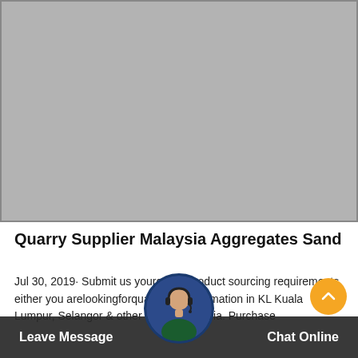[Figure (photo): Gray placeholder image area at the top of the page, representing a quarry or aggregates product image]
Quarry Supplier Malaysia Aggregates Sand
Jul 30, 2019· Submit us yourquarryproduct sourcing requirements either you arelookingforqua... or information in KL Kuala Lumpur, Selangor & other sta... Malaysia. Purchase
[Figure (other): Scroll-to-top orange circular button with upward chevron arrow]
[Figure (photo): Customer service chat avatar — circular photo of a woman wearing a headset]
Leave Message   Chat Online